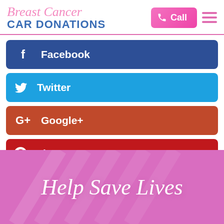Breast Cancer CAR DONATIONS
Call
[Figure (screenshot): Social media share buttons: Facebook, Twitter, Google+, Pinterest]
Tags
Help Save Lives